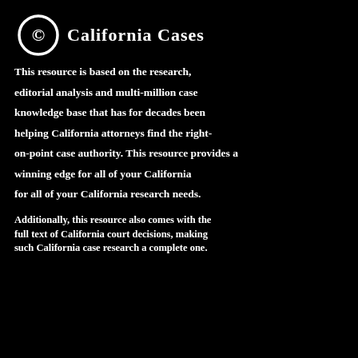© California Cases
This resource is based on the research, editorial analysis and multi-million case knowledge base that has for decades been helping California attorneys find the right-on-point case authority. This resource provides a winning edge for all of your California research needs.
Additionally, this resource also comes with the full text of California court decisions, making such California case research a complete one.